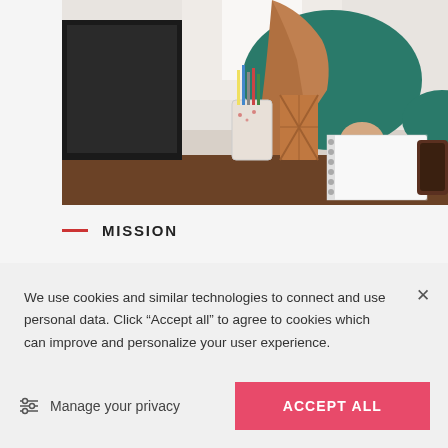[Figure (photo): A woman in a teal sweater sitting at a desk with a computer monitor, pencil holders, a notebook, and a phone on the desk. She appears to be working.]
MISSION
We use cookies and similar technologies to connect and use personal data. Click “Accept all” to agree to cookies which can improve and personalize your user experience.
Manage your privacy
ACCEPT ALL